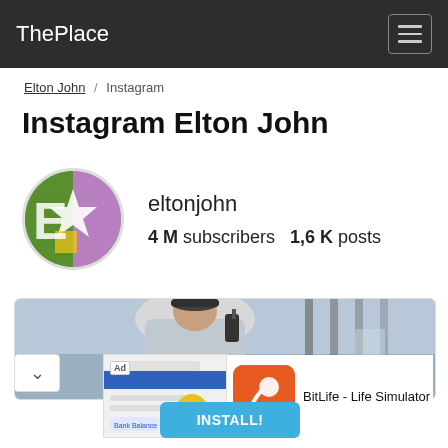ThePlace
Elton John / Instagram
Instagram Elton John
[Figure (photo): Circular profile photo of Elton John with colorful background and star motif, username eltonjohn, 4M subscribers, 1,6K posts]
[Figure (photo): Photo strip showing a person on a boat with a walkie-talkie, with a child with blonde hair in the foreground]
[Figure (advertisement): Ad for BitLife - Life Simulator app with orange icon showing a sperm emoji, INSTALL! button in blue]